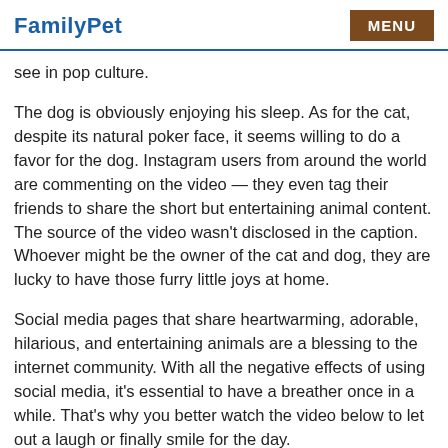FamilyPet   MENU
see in pop culture.
The dog is obviously enjoying his sleep. As for the cat, despite its natural poker face, it seems willing to do a favor for the dog. Instagram users from around the world are commenting on the video — they even tag their friends to share the short but entertaining animal content. The source of the video wasn't disclosed in the caption. Whoever might be the owner of the cat and dog, they are lucky to have those furry little joys at home.
Social media pages that share heartwarming, adorable, hilarious, and entertaining animals are a blessing to the internet community. With all the negative effects of using social media, it's essential to have a breather once in a while. That's why you better watch the video below to let out a laugh or finally smile for the day.